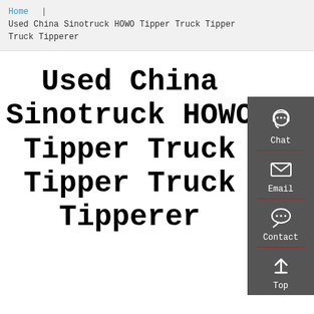Home | Used China Sinotruck HOWO Tipper Truck Tipper Truck Tipperer
Used China Sinotruck HOWO Tipper Truck Tipper Truck Tipperer
[Figure (infographic): Right sidebar with dark grey background containing four clickable icons: Chat (headset icon), Email (envelope icon), Contact (speech bubble icon), Top (upward arrow icon), separated by red dividers.]